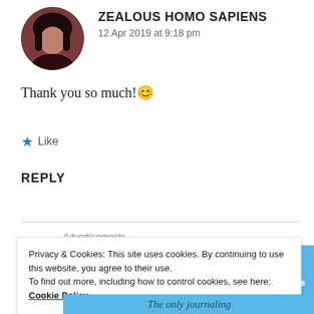[Figure (illustration): Circular avatar image of a person with dark hair against a dark reddish background]
ZEALOUS HOMO SAPIENS
12 Apr 2019 at 9:18 pm
Thank you so much! 😊
★ Like
REPLY
Advertisements
[Figure (screenshot): Blue advertisement banner with circular profile icons]
Privacy & Cookies: This site uses cookies. By continuing to use this website, you agree to their use.
To find out more, including how to control cookies, see here: Cookie Policy
[Close and accept]
The only journaling